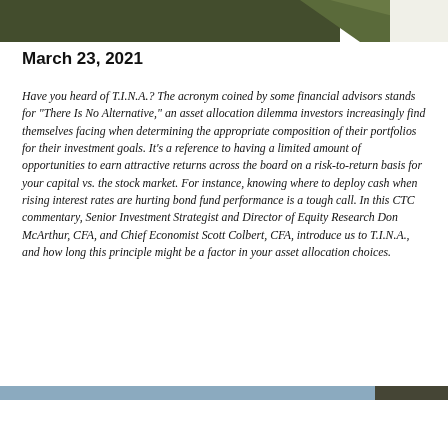[decorative header image with foliage and geometric shape]
March 23, 2021
Have you heard of T.I.N.A.?  The acronym coined by some financial advisors stands for “There Is No Alternative,” an asset allocation dilemma investors increasingly find themselves facing when determining the appropriate composition of their portfolios for their investment goals.  It’s a reference to having a limited amount of opportunities to earn attractive returns across the board on a risk-to-return basis for your capital vs. the stock market.  For instance, knowing where to deploy cash when rising interest rates are hurting bond fund performance is a tough call.  In this CTC commentary, Senior Investment Strategist and Director of Equity Research Don McArthur, CFA, and Chief Economist Scott Colbert, CFA, introduce us to T.I.N.A., and how long this principle might be a factor in your asset allocation choices.
[decorative footer bar]